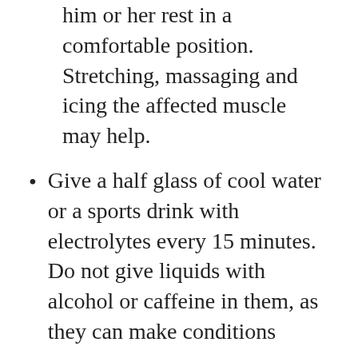him or her rest in a comfortable position. Stretching, massaging and icing the affected muscle may help.
Give a half glass of cool water or a sports drink with electrolytes every 15 minutes. Do not give liquids with alcohol or caffeine in them, as they can make conditions worse.
Heat exhaustion is caused by a combination of exercise induced heat and fluid and electrolyte loss from sweating. Signs of heat exhaustion include cool, moist, pale or flushed skin; heavy sweating; headache; nausea; dizziness;